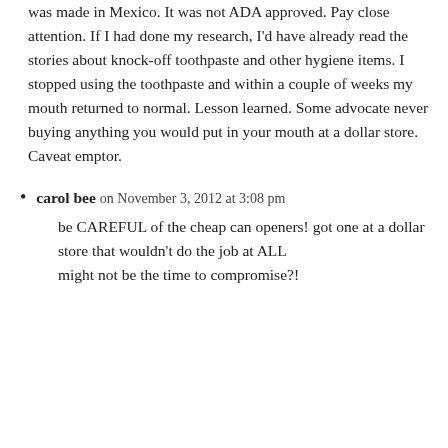was made in Mexico. It was not ADA approved. Pay close attention. If I had done my research, I'd have already read the stories about knock-off toothpaste and other hygiene items. I stopped using the toothpaste and within a couple of weeks my mouth returned to normal. Lesson learned. Some advocate never buying anything you would put in your mouth at a dollar store. Caveat emptor.
carol bee on November 3, 2012 at 3:08 pm — be CAREFUL of the cheap can openers! got one at a dollar store that wouldn't do the job at ALL
might not be the time to compromise?!